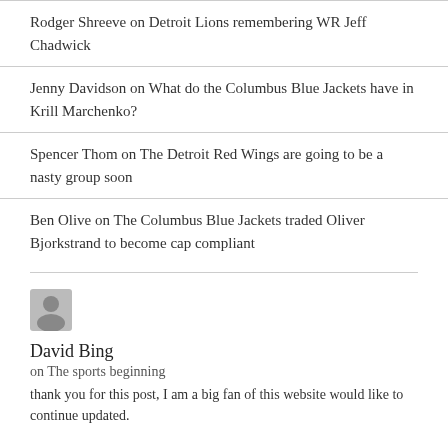Rodger Shreeve on Detroit Lions remembering WR Jeff Chadwick
Jenny Davidson on What do the Columbus Blue Jackets have in Krill Marchenko?
Spencer Thom on The Detroit Red Wings are going to be a nasty group soon
Ben Olive on The Columbus Blue Jackets traded Oliver Bjorkstrand to become cap compliant
[Figure (illustration): Generic user avatar icon (grey circle with person silhouette)]
David Bing
on The sports beginning
thank you for this post, I am a big fan of this website would like to continue updated.